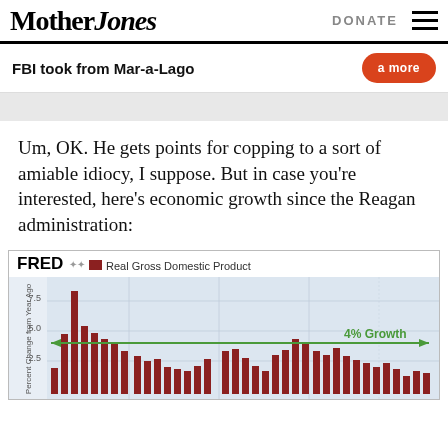Mother Jones | DONATE
FBI took from Mar-a-Lago
Um, OK. He gets points for copping to a sort of amiable idiocy, I suppose. But in case you're interested, here's economic growth since the Reagan administration:
[Figure (bar-chart): FRED bar chart showing Real Gross Domestic Product percent change from year ago since the Reagan administration. A green horizontal arrow marks 4% Growth level. Bars are dark red/maroon, reaching a peak near 7.5% early in the series.]